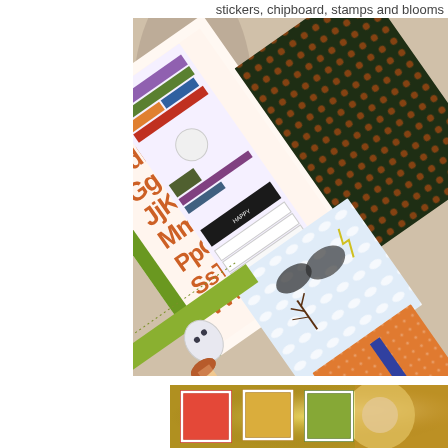stickers, chipboard, stamps and blooms
[Figure (photo): Overhead angled view of Halloween-themed scrapbooking papers, sticker sheets, and patterned papers fanned out showing orange alphabet letters, green grid papers, dark pumpkin print, sky/clouds pattern, striped papers, and various decorative embellishments.]
[Figure (photo): Close-up blurred photo of colorful scrapbooking cards or tags with warm tones of red, yellow, green, partially visible with bokeh lighting effect.]